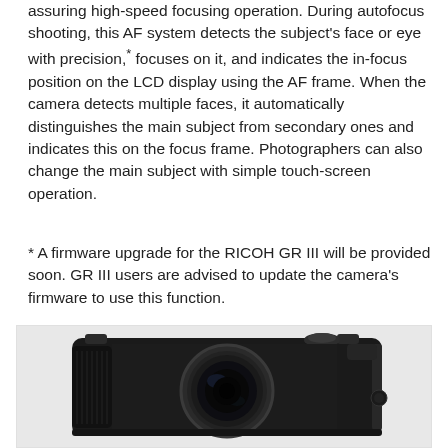assuring high-speed focusing operation. During autofocus shooting, this AF system detects the subject's face or eye with precision,* focuses on it, and indicates the in-focus position on the LCD display using the AF frame. When the camera detects multiple faces, it automatically distinguishes the main subject from secondary ones and indicates this on the focus frame. Photographers can also change the main subject with simple touch-screen operation.
* A firmware upgrade for the RICOH GR III will be provided soon. GR III users are advised to update the camera's firmware to use this function.
[Figure (photo): Photo of a RICOH GR III camera showing the front with lens, black body with textured grip, viewed at a slight angle from the front-right.]